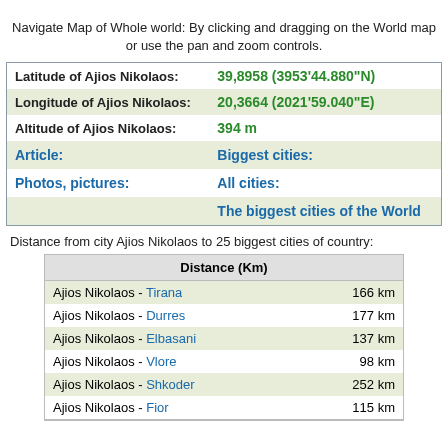Navigate Map of Whole world: By clicking and dragging on the World map or use the pan and zoom controls.
|  |  |
| --- | --- |
| Latitude of Ajios Nikolaos: | 39,8958 (3953'44.880"N) |
| Longitude of Ajios Nikolaos: | 20,3664 (2021'59.040"E) |
| Altitude of Ajios Nikolaos: | 394 m |
| Article: | Biggest cities: |
| Photos, pictures: | All cities: |
|  | The biggest cities of the World |
Distance from city Ajios Nikolaos to 25 biggest cities of country:
| Distance (Km) |  |
| --- | --- |
| Ajios Nikolaos - Tirana | 166 km |
| Ajios Nikolaos - Durres | 177 km |
| Ajios Nikolaos - Elbasani | 137 km |
| Ajios Nikolaos - Vlore | 98 km |
| Ajios Nikolaos - Shkoder | 252 km |
| Ajios Nikolaos - Fior | 115 km |